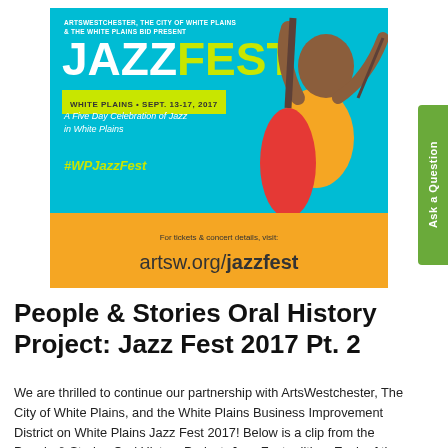[Figure (illustration): JazzFest White Plains Sept. 13-17, 2017 promotional poster with teal background, yellow-green 'FEST' text, musician playing upright bass, and gold bottom section with website artsw.org/jazzfest]
People & Stories Oral History Project: Jazz Fest 2017 Pt. 2
We are thrilled to continue our partnership with ArtsWestchester, The City of White Plains, and the White Plains Business Improvement District on White Plains Jazz Fest 2017! Below is a clip from the People & Stories Oral History Project, Jazz Fest edition. Each of the clips we post between now and September will include stories